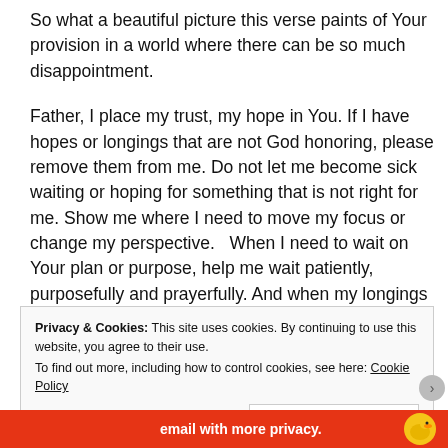So what a beautiful picture this verse paints of Your provision in a world where there can be so much disappointment.
Father, I place my trust, my hope in You. If I have hopes or longings that are not God honoring, please remove them from me. Do not let me become sick waiting or hoping for something that is not right for me. Show me where I need to move my focus or change my perspective.   When I need to wait on Your plan or purpose, help me wait patiently, purposefully and prayerfully. And when my longings are fulfilled, remind me to thank You and give You the credit.
Privacy & Cookies: This site uses cookies. By continuing to use this website, you agree to their use. To find out more, including how to control cookies, see here: Cookie Policy
Close and accept
[Figure (infographic): Bottom red banner with white text 'email with more privacy.' and a duck icon on the right]